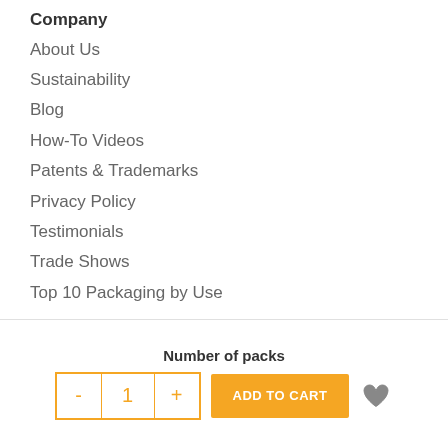Company
About Us
Sustainability
Blog
How-To Videos
Patents & Trademarks
Privacy Policy
Testimonials
Trade Shows
Top 10 Packaging by Use
Industry
Art & Photo
Medicinal
Collectibles
Cosmetics
Crafting
Direct Mail
Fishing
Number of packs
- 1 + ADD TO CART